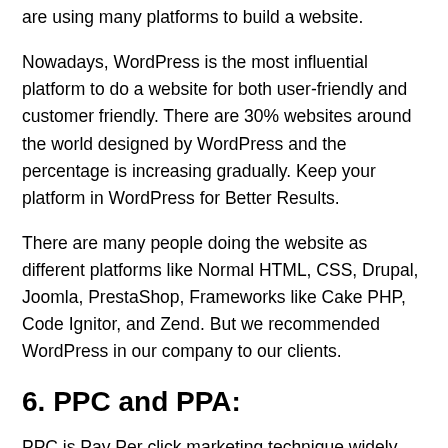are using many platforms to build a website.
Nowadays, WordPress is the most influential platform to do a website for both user-friendly and customer friendly. There are 30% websites around the world designed by WordPress and the percentage is increasing gradually. Keep your platform in WordPress for Better Results.
There are many people doing the website as different platforms like Normal HTML, CSS, Drupal, Joomla, PrestaShop, Frameworks like Cake PHP, Code Ignitor, and Zend. But we recommended WordPress in our company to our clients.
6. PPC and PPA:
PPC is Pay Per click marketing technique widely used by the large scale companies. It is a great opportunity to get a maxium